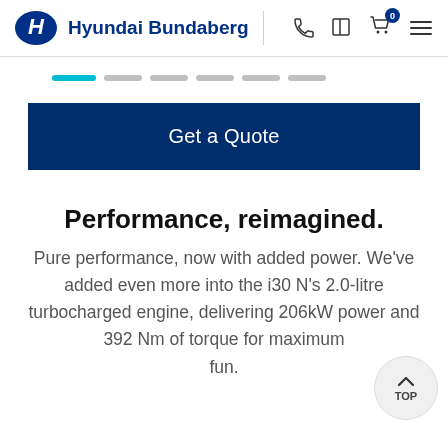Hyundai Bundaberg
[Figure (screenshot): Slider navigation dots — one active teal/blue dot and five grey dots]
Get a Quote
Performance, reimagined.
Pure performance, now with added power. We've added even more into the i30 N's 2.0-litre turbocharged engine, delivering 206kW power and 392 Nm of torque for maximum fun.